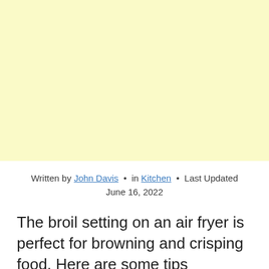[Figure (other): Large yellow/cream colored advertisement or image placeholder block]
Written by John Davis • in Kitchen • Last Updated June 16, 2022
The broil setting on an air fryer is perfect for browning and crisping food. Here are some tips